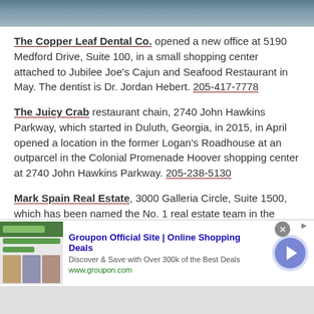[Figure (photo): Top portion of a webpage showing a partial image (building or storefront) in blue-gray tones]
The Copper Leaf Dental Co. opened a new office at 5190 Medford Drive, Suite 100, in a small shopping center attached to Jubilee Joe's Cajun and Seafood Restaurant in May. The dentist is Dr. Jordan Hebert. 205-417-7778
The Juicy Crab restaurant chain, 2740 John Hawkins Parkway, which started in Duluth, Georgia, in 2015, in April opened a location in the former Logan's Roadhouse at an outparcel in the Colonial Promenade Hoover shopping center at 2740 John Hawkins Parkway. 205-238-5130
Mark Spain Real Estate, 3000 Galleria Circle, Suite 1500, which has been named the No. 1 real estate team in the
[Figure (screenshot): Advertisement banner for Groupon Official Site | Online Shopping Deals. Shows Groupon logo, text 'Discover & Save with Over 300k of the Best Deals', URL www.groupon.com, and a blue circular arrow button.]